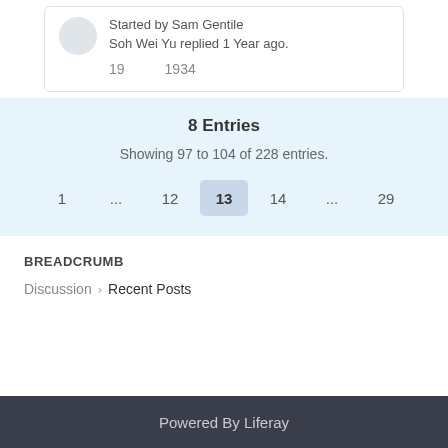Started by Sam Gentile
Soh Wei Yu replied 1 Year ago.
19    1934
8 Entries
Showing 97 to 104 of 228 entries.
1 ... 12 13 14 ... 29
BREADCRUMB
Discussion › Recent Posts
Powered By Liferay